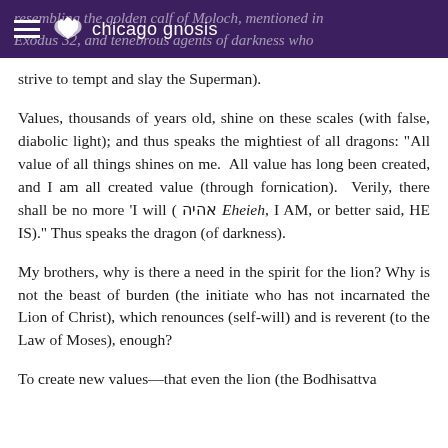chicago gnosis
resembling the golden calf of Moloch, mentioned in Exodus 32, and tenebrous agents of darkness who strive to tempt and slay the Superman).
Values, thousands of years old, shine on these scales (with false, diabolic light); and thus speaks the mightiest of all dragons: "All value of all things shines on me.  All value has long been created, and I am all created value (through fornication).  Verily, there shall be no more 'I will ( אהיה Eheieh, I AM, or better said, HE IS)." Thus speaks the dragon (of darkness).
My brothers, why is there a need in the spirit for the lion? Why is not the beast of burden (the initiate who has not incarnated the Lion of Christ), which renounces (self-will) and is reverent (to the Law of Moses), enough?
To create new values—that even the lion (the Bodhisattva